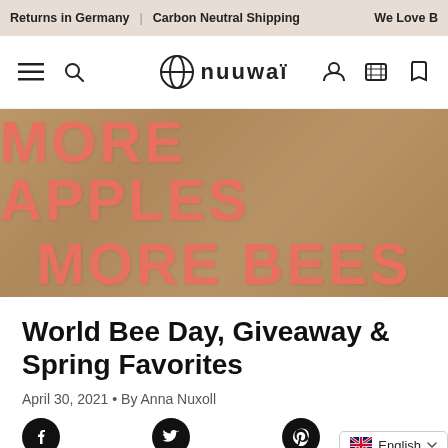Returns in Germany | Carbon Neutral Shipping  We Love B
[Figure (logo): nuuwai brand logo with circular icon]
[Figure (photo): Hero banner with text MORE APPLES MORE BEES on a warm brown/orange background photo]
World Bee Day, Giveaway & Spring Favorites
April 30, 2021 • By Anna Nuxoll
[Figure (infographic): Social share buttons: Facebook, Twitter, Pinterest icons in black circles, plus English language selector]